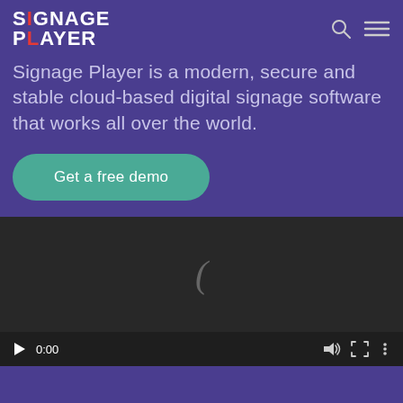SIGNAGE PLAYER
Signage Player is a modern, secure and stable cloud-based digital signage software that works all over the world.
Get a free demo
[Figure (screenshot): Video player with dark background, a loading spinner symbol in center, and playback controls bar at bottom showing play button, time 0:00, volume icon, fullscreen icon, and more options icon.]